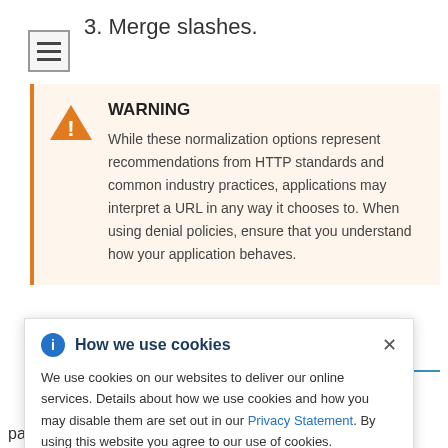3. Merge slashes.
WARNING
While these normalization options represent recommendations from HTTP standards and common industry practices, applications may interpret a URL in any way it chooses to. When using denial policies, ensure that you understand how your application behaves.
How we use cookies
We use cookies on our websites to deliver our online services. Details about how we use cookies and how you may disable them are set out in our Privacy Statement. By using this website you agree to our use of cookies.
xamples
to match
ical to the
mples can
e your
original URL
paths if NONE is selected, will be: